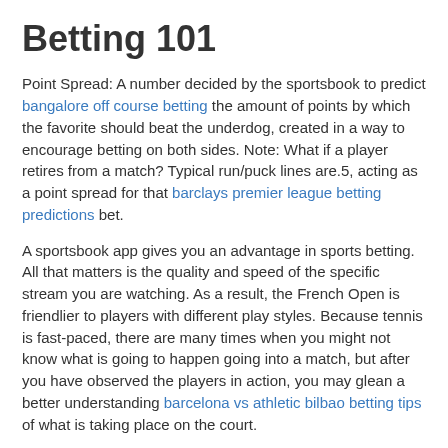Betting 101
Point Spread: A number decided by the sportsbook to predict bangalore off course betting the amount of points by which the favorite should beat the underdog, created in a way to encourage betting on both sides. Note: What if a player retires from a match? Typical run/puck lines are.5, acting as a point spread for that barclays premier league betting predictions bet.
A sportsbook app gives you an advantage in sports betting. All that matters is the quality and speed of the specific stream you are watching. As a result, the French Open is friendlier to players with different play styles. Because tennis is fast-paced, there are many times when you might not know what is going to happen going into a match, but after you have observed the players in action, you may glean a better understanding barcelona vs athletic bilbao betting tips of what is taking place on the court.
MyBookie: Another Great Choice for Bonuses, News, and